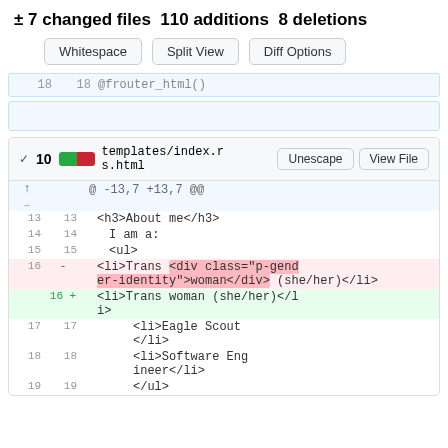± 7 changed files 110 additions 8 deletions
Whitespace | Split View | Diff Options
18  18  @frouter_html()
[Figure (screenshot): Code diff view for templates/index.rs.html showing line 16 changed from '<li>Trans <div class="p-gender-identity">woman</div> (she/her)</li>' to '<li>Trans woman (she/her)</li>', with surrounding context lines 13-19.]